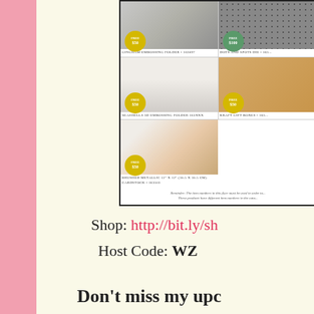[Figure (other): Partial view of a product flyer showing craft supply items: Gingham Embossing Folder (163097), Dots and Spots Die (partially visible), Seashells 3D Embossing Folder (163XXX), Kraft Gift Boxes (163XXX), Brushed Metallic 12x12 30.5x30.5 cm Cardstock (163503). Each item has a yellow or green badge indicating FREE with a dollar amount. A reminder note at the bottom states item numbers in this flyer must be used to order and products have different item numbers in the catalog.]
Shop: http://bit.ly/sh...
Host Code: WZ...
Don't miss my upc...